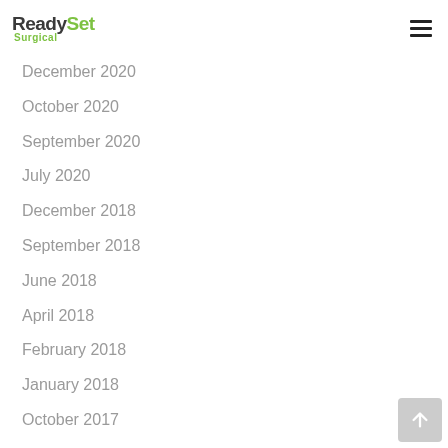ReadySet Surgical
December 2020
October 2020
September 2020
July 2020
December 2018
September 2018
June 2018
April 2018
February 2018
January 2018
October 2017
September 2017
August 2017